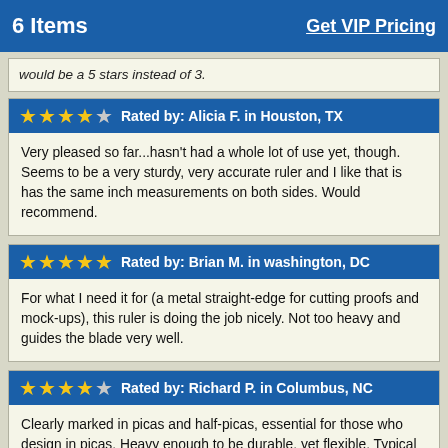6 Items    Get VIP Pricing
would be a 5 stars instead of 3.
Rated by: Alicia F. in Houston, TX — 4 stars — Very pleased so far...hasn't had a whole lot of use yet, though. Seems to be a very sturdy, very accurate ruler and I like that is has the same inch measurements on both sides. Would recommend.
Rated by: Brian M. in washington, DC — 5 stars — For what I need it for (a metal straight-edge for cutting proofs and mock-ups), this ruler is doing the job nicely. Not too heavy and guides the blade very well.
Rated by: Richard P. in Columbus, NC — 4 stars — Clearly marked in picas and half-picas, essential for those who design in picas. Heavy enough to be durable, yet flexible. Typical Gaebel high quality. Arrived promptly; reasonable price.